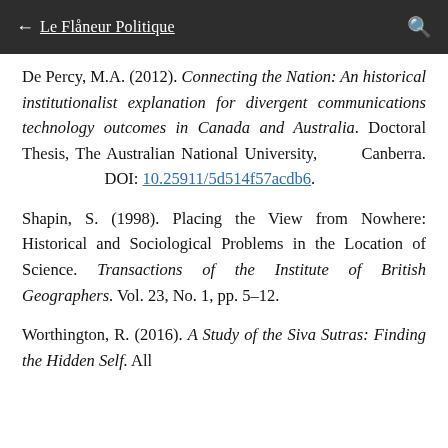← Le Flâneur Politique
De Percy, M.A. (2012). Connecting the Nation: An historical institutionalist explanation for divergent communications technology outcomes in Canada and Australia. Doctoral Thesis, The Australian National University, Canberra. DOI: 10.25911/5d514f57acdb6.
Shapin, S. (1998). Placing the View from Nowhere: Historical and Sociological Problems in the Location of Science. Transactions of the Institute of British Geographers. Vol. 23, No. 1, pp. 5–12.
Worthington, R. (2016). A Study of the Siva Sutras: Finding the Hidden Self. All below the line...